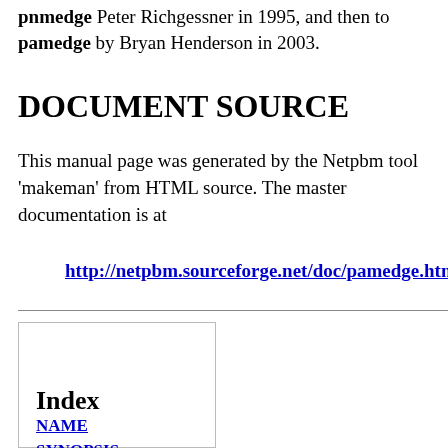pnmedge Peter Richgessner in 1995, and then to pamedge by Bryan Henderson in 2003.
DOCUMENT SOURCE
This manual page was generated by the Netpbm tool 'makeman' from HTML source. The master documentation is at
http://netpbm.sourceforge.net/doc/pamedge.htm
Index
NAME
SYNOPSIS
DESCRIPTION
OPTIONS